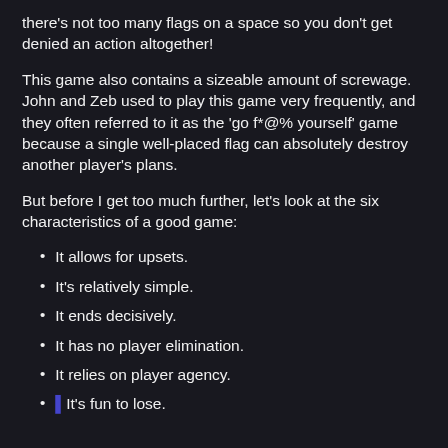there's not too many flags on a space so you don't get denied an action altogether!
This game also contains a sizeable amount of screwage. John and Zeb used to play this game very frequently, and they often referred to it as the 'go f*@% yourself' game because a single well-placed flag can absolutely destroy another player's plans.
But before I get too much further, let's look at the six characteristics of a good game:
It allows for upsets.
It's relatively simple.
It ends decisively.
It has no player elimination.
It relies on player agency.
It's fun to lose.